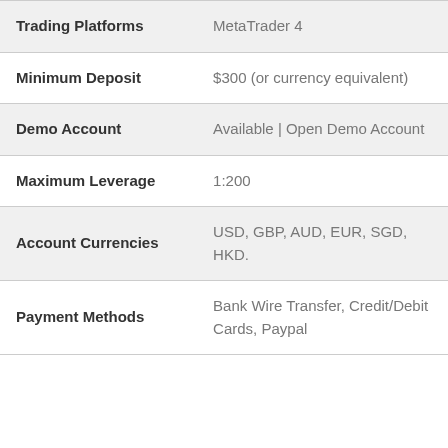| Feature | Details |
| --- | --- |
| Trading Platforms | MetaTrader 4 |
| Minimum Deposit | $300 (or currency equivalent) |
| Demo Account | Available | Open Demo Account |
| Maximum Leverage | 1:200 |
| Account Currencies | USD, GBP, AUD, EUR, SGD, HKD. |
| Payment Methods | Bank Wire Transfer, Credit/Debit Cards, Paypal |